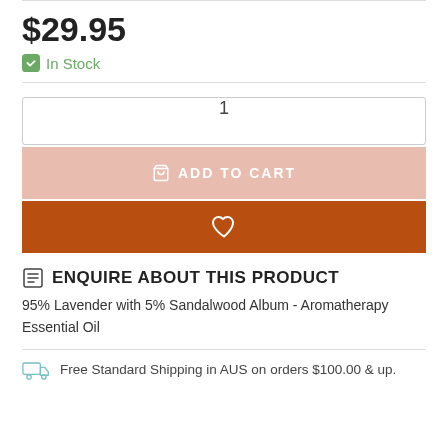$29.95
In Stock
1
ADD TO CART
ENQUIRE ABOUT THIS PRODUCT
95% Lavender with 5% Sandalwood Album - Aromatherapy Essential Oil
Free Standard Shipping in AUS on orders $100.00 & up.